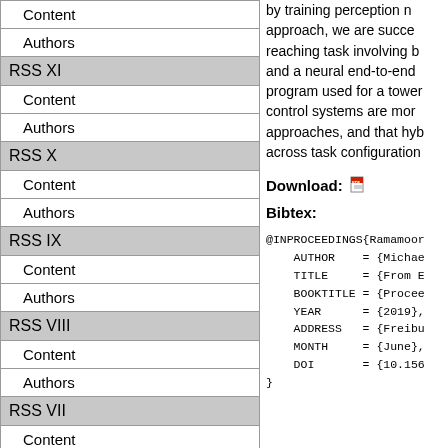| Content |
| Authors |
| RSS XI |
| Content |
| Authors |
| RSS X |
| Content |
| Authors |
| RSS IX |
| Content |
| Authors |
| RSS VIII |
| Content |
| Authors |
| RSS VII |
| Content |
| Authors |
| RSS VI |
| Content |
| Authors |
| RSS V |
| Content |
by training perception n... approach, we are succe... reaching task involving b... and a neural end-to-end... program used for a tower... control systems are mor... approaches, and that hyb... across task configuration...
Download:
Bibtex:
@INPROCEEDINGS{Ramamoor...
    AUTHOR    = {Michae...
    TITLE     = {From E...
    BOOKTITLE = {Procee...
    YEAR      = {2019},
    ADDRESS   = {Freibu...
    MONTH     = {June},
    DOI       = {10.156...
}